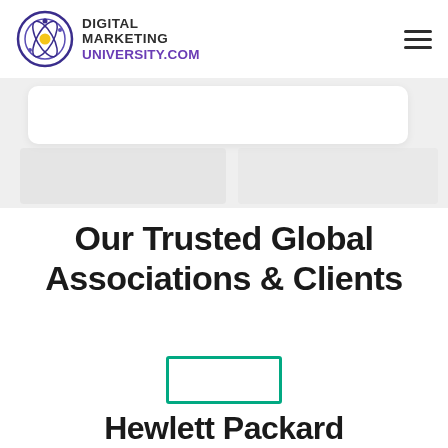Digital Marketing University .com
Our Trusted Global Associations & Clients
[Figure (logo): Hewlett Packard logo: teal/green rectangle outline with HP text inside]
Hewlett Packard